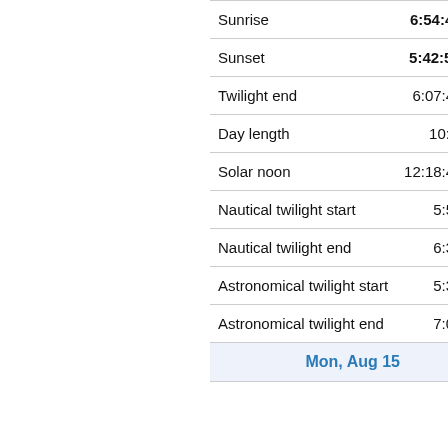| Event | Time |
| --- | --- |
| Sunrise | 6:54:40 am |
| Sunset | 5:42:59 pm |
| Twilight end | 6:07:48 pm |
| Day length | 10:48:19 |
| Solar noon | 12:18:49 pm |
| Nautical twilight start | 5:59 am |
| Nautical twilight end | 6:37 pm |
| Astronomical twilight start | 5:30 am |
| Astronomical twilight end | 7:07 pm |
| Mon, Aug 15 |  |